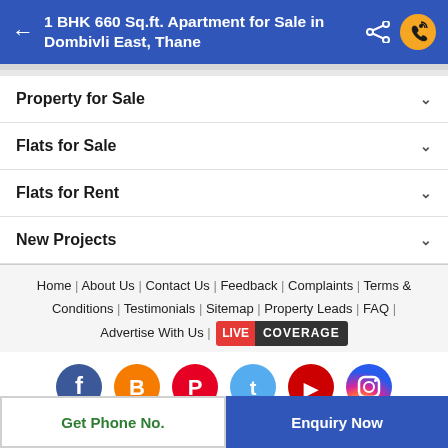1 BHK 660 Sq.ft. Apartment for Sale in Dombivli East, Thane
Property for Sale
Flats for Sale
Flats for Rent
New Projects
Home | About Us | Contact Us | Feedback | Complaints | Terms & Conditions | Testimonials | Sitemap | Property Leads | FAQ | Advertise With Us | LIVE COVERAGE
[Figure (other): Social media icons: Facebook, Blogger, Pinterest, Twitter, YouTube, Instagram]
Note : Being an Intermediary, the role of RealEstateIndia.Com is limited to provide an online platform... More
Get Phone No.
Enquiry Now